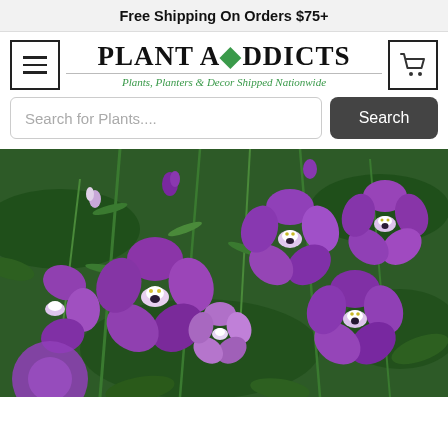Free Shipping On Orders $75+
PLANT ADDICTS — Plants, Planters & Decor Shipped Nationwide
Search for Plants....
[Figure (photo): Close-up photograph of vibrant purple and violet lobelia flowers with white and yellow centers, surrounded by green stems and foliage.]